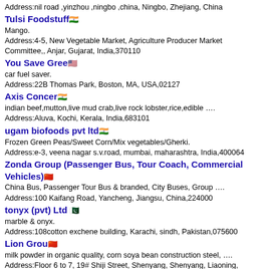Address:nil road ,yinzhou ,ningbo ,china, Ningbo, Zhejiang, China
Tulsi Foodstuff [IN flag]
Mango.
Address:4-5, New Vegetable Market, Agriculture Producer Market Committee,, Anjar, Gujarat, India,370110
You Save Gree [US flag]
car fuel saver.
Address:22B Thomas Park, Boston, MA, USA,02127
Axis Concer [IN flag]
indian beef,mutton,live mud crab,live rock lobster,rice,edible ….
Address:Aluva, Kochi, Kerala, India,683101
ugam biofoods pvt ltd [IN flag]
Frozen Green Peas/Sweet Corn/Mix vegetables/Gherki.
Address:e-3, veena nagar s.v.road, mumbai, maharashtra, India,400064
Zonda Group (Passenger Bus, Tour Coach, Commercial Vehicles) [CN flag]
China Bus, Passenger Tour Bus & branded, City Buses, Group ….
Address:100 Kaifang Road, Yancheng, Jiangsu, China,224000
tonyx (pvt) Ltd [PK flag]
marble & onyx.
Address:108cotton exchene building, Karachi, sindh, Pakistan,075600
Lion Grou [CN flag]
milk powder in organic quality, corn soya bean construction steel, ….
Address:Floor 6 to 7, 19# Shiji Street, Shenyang, Shenyang, Liaoning, China,110179
Asia Pacic Servic [US flag]